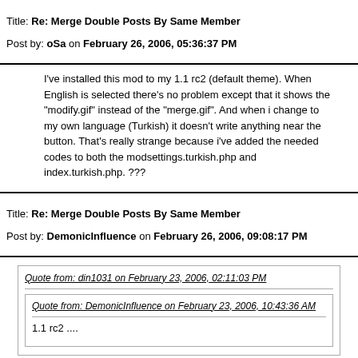Title: Re: Merge Double Posts By Same Member
Post by: oSa on February 26, 2006, 05:36:37 PM
I've installed this mod to my 1.1 rc2 (default theme). When English is selected there's no problem except that it shows the "modify.gif" instead of the "merge.gif". And when i change to my own language (Turkish) it doesn't write anything near the button. That's really strange because i've added the needed codes to both the modsettings.turkish.php and index.turkish.php. ???
Title: Re: Merge Double Posts By Same Member
Post by: DemonicInfluence on February 26, 2006, 09:08:17 PM
Quote from: din1031 on February 23, 2006, 02:11:03 PM
Quote from: DemonicInfluence on February 23, 2006, 10:43:36 AM
1.1 rc2 ....
Only a small question did you realy allow posts without limit... (I think that's my bug xD). Rofl i used the wrong variable to fill xD...
Okay i found a small bug, too and insert it. Also the changes from fivearts are insert.